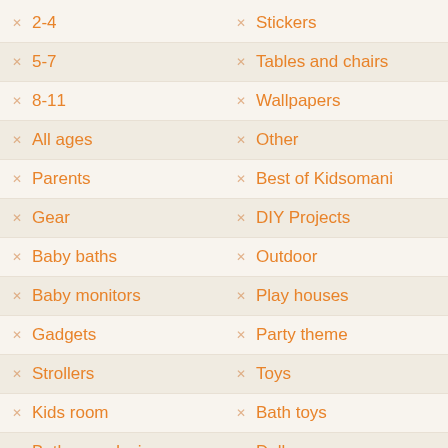2-4
5-7
8-11
All ages
Parents
Gear
Baby baths
Baby monitors
Gadgets
Strollers
Kids room
Bathroom design
Bedding
Beds
Cabinets
Stickers
Tables and chairs
Wallpapers
Other
Best of Kidsomani
DIY Projects
Outdoor
Play houses
Party theme
Toys
Bath toys
Dolls
Mobiles
Robots
Teethers